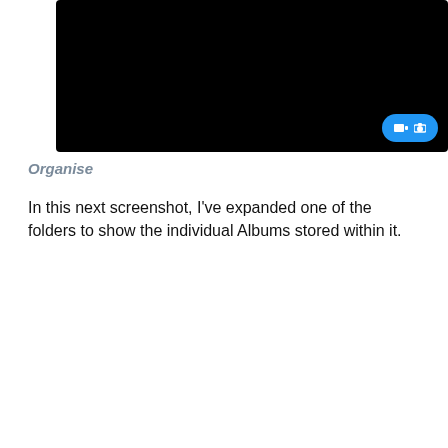[Figure (screenshot): Black screenshot area with blue icon button in bottom-right corner containing video/camera icons]
Organise
In this next screenshot, I've expanded one of the folders to show the individual Albums stored within it.
[Figure (screenshot): Adobe Lightroom mobile app screenshot showing 'Presentations' folder expanded with albums: Alaska, Arizona & New Mexico, Grand Canyon, Nepal, New Mexico (left column) and Antarctica & South Atlantic, California Highlights, Iceland, New England & Nova Scotia, Pacific Northwest (right column)]